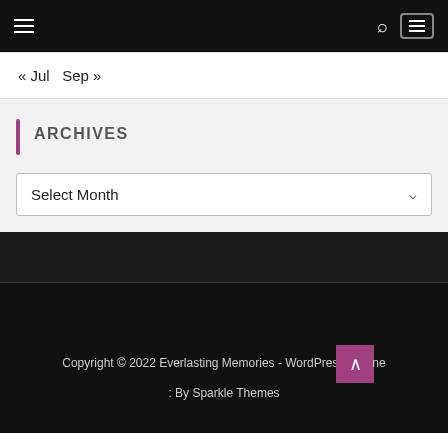Navigation bar with hamburger menu, search icon, and menu box
« Jul  Sep »
ARCHIVES
Select Month
Copyright © 2022 Everlasting Memories - WordPress Theme : By Sparkle Themes